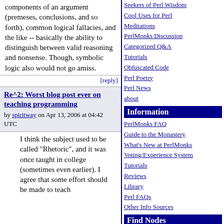components of an argument (premeses, conclusions, and so forth), common logical fallacies, and the like -- basically the ability to distinguish between valid reasoning and nonsense. Though, symbolic logic also would not go amiss.
[reply]
Re^2: Worst blog post ever on teaching programming by spiritway on Apr 13, 2006 at 04:42 UTC
I think the subject used to be called "Rhetoric", and it was once taught in college (sometimes even earlier). I agree that some effort should be made to teach
Seekers of Perl Wisdom
Cool Uses for Perl
Meditations
PerlMonks Discussion
Categorized Q&A
Tutorials
Obfuscated Code
Perl Poetry
Perl News
about
Information
PerlMonks FAQ
Guide to the Monastery
What's New at PerlMonks
Voting/Experience System
Tutorials
Reviews
Library
Perl FAQs
Other Info Sources
Find Nodes
Nodes You Wrote
Super Search
List Nodes By Users
Newest Nodes
Recently Active Threads
Selected Best Nodes
Best Nodes
Worst Nodes